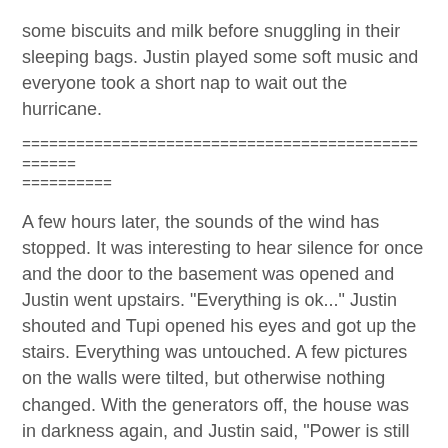some biscuits and milk before snuggling in their sleeping bags. Justin played some soft music and everyone took a short nap to wait out the hurricane.
==================================================
==========
A few hours later, the sounds of the wind has stopped. It was interesting to hear silence for once and the door to the basement was opened and Justin went upstairs. "Everything is ok..." Justin shouted and Tupi opened his eyes and got up the stairs. Everything was untouched. A few pictures on the walls were tilted, but otherwise nothing changed. With the generators off, the house was in darkness again, and Justin said, "Power is still out."
==================================================
==========
Tupi removed the shutters and he was shocked. There was a sailboat, on the flooded lawn outside -- in the beautiful morning sun.